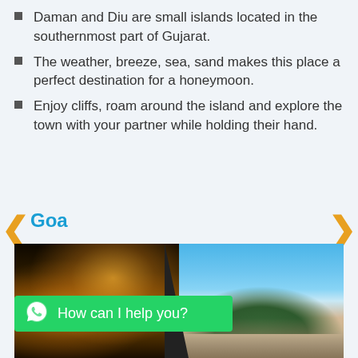Daman and Diu are small islands located in the southernmost part of Gujarat.
The weather, breeze, sea, sand makes this place a perfect destination for a honeymoon.
Enjoy cliffs, roam around the island and explore the town with your partner while holding their hand.
Goa
[Figure (photo): Composite travel photo of Goa: left side shows a vibrant night market scene with colorful stalls and warm lights; right side shows a sunny beach with blue sky, palm trees, and people on the sand.]
How can I help you?